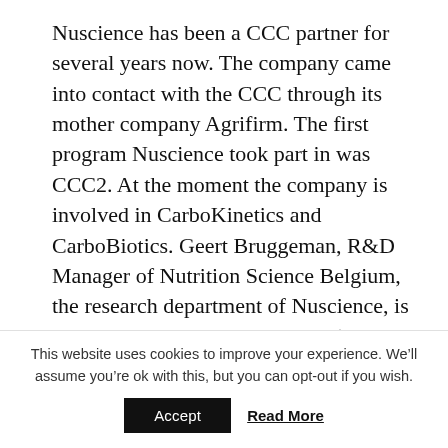Nuscience has been a CCC partner for several years now. The company came into contact with the CCC through its mother company Agrifirm. The first program Nuscience took part in was CCC2. At the moment the company is involved in CarboKinetics and CarboBiotics. Geert Bruggeman, R&D Manager of Nutrition Science Belgium, the research department of Nuscience, is closely involved with the CCC: ‘The collaboration suits both sides: we get to coach young scientists, who in their turn inspire us.’
R&D functional food
This website uses cookies to improve your experience. We’ll assume you’re ok with this, but you can opt-out if you wish.